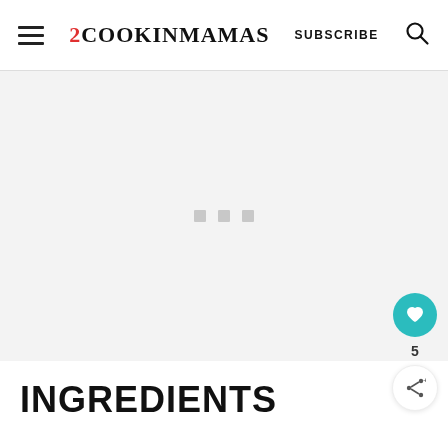2COOKINMAMAS | SUBSCRIBE
[Figure (other): Advertisement placeholder area with three small grey squares centered, light grey background]
INGREDIENTS